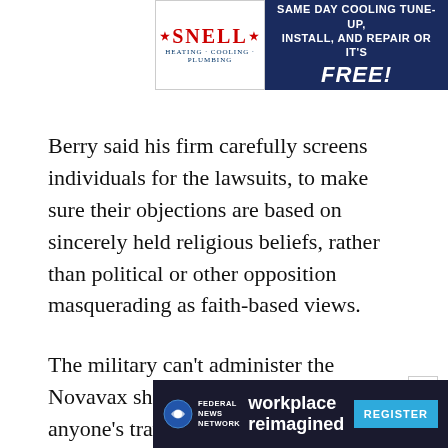[Figure (advertisement): Snell Heating Cooling Plumbing ad on left with logo, and right side dark navy background with text: SAME DAY COOLING TUNE-UP, INSTALL, AND REPAIR OR IT'S FREE!]
Berry said his firm carefully screens individuals for the lawsuits, to make sure their objections are based on sincerely held religious beliefs, rather than political or other opposition masquerading as faith-based views.
The military can't administer the Novavax shot now, and won't pay for anyone's travel overseas to get it. But tens of thousands of American forces are based in Europe, where Novavax is availa...
[Figure (advertisement): Federal News Network ad: workplace reimagined, with REGISTER button]